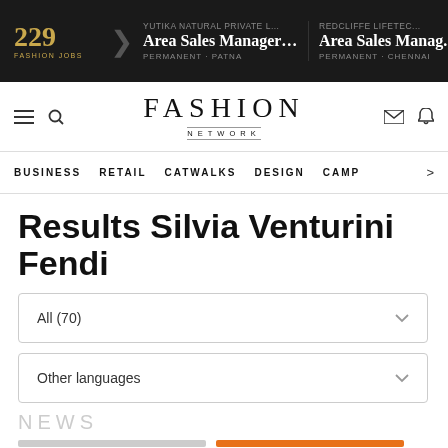229 FASHION JOBS | YUTIKA NATURAL PRIVATE L... Area Sales Manager(P... PERMANENT - PATNA | REDCLIFFE LIFETEC... Area Sales Manager PERMANENT - CHENNAI
[Figure (logo): Fashion Network logo with navigation icons]
BUSINESS  RETAIL  CATWALKS  DESIGN  CAMP >
Results Silvia Venturini Fendi
All (70)
Other languages
NEWS